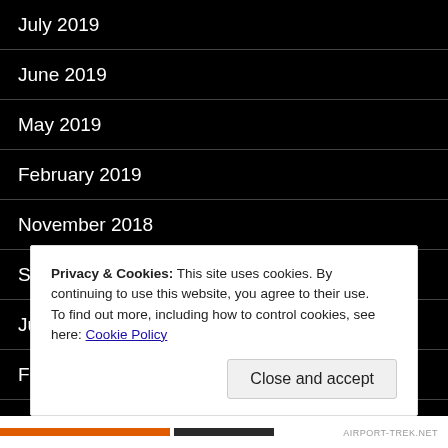July 2019
June 2019
May 2019
February 2019
November 2018
September 2018
July 2018
February 2018
December 2017
Privacy & Cookies: This site uses cookies. By continuing to use this website, you agree to their use.
To find out more, including how to control cookies, see here: Cookie Policy
Close and accept